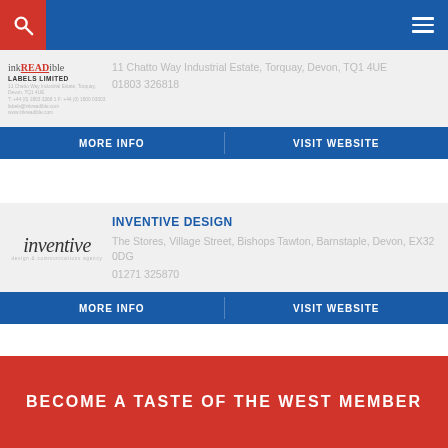Navigation bar with search and hamburger menu
[Figure (logo): inkREADible Labels Limited company logo with address details]
11 Chatto Way Industrial Estate, Torquay, Devon, TQ1 4UE
01803 326818
MORE INFO | VISIT WEBSITE
[Figure (logo): Inventive design company logo in italic lowercase]
INVENTIVE DESIGN
The Stores, Village Street, Bishops Tawton, Barnstaple, Devon, EX32 0DG
01271 325870
MORE INFO | VISIT WEBSITE
BECOME A TASTE OF THE WEST MEMBER